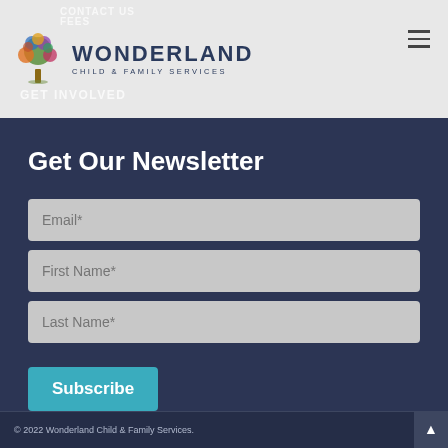WONDERLAND CHILD & FAMILY SERVICES
Get Our Newsletter
Email*
First Name*
Last Name*
Subscribe
© 2022 Wonderland Child & Family Services.